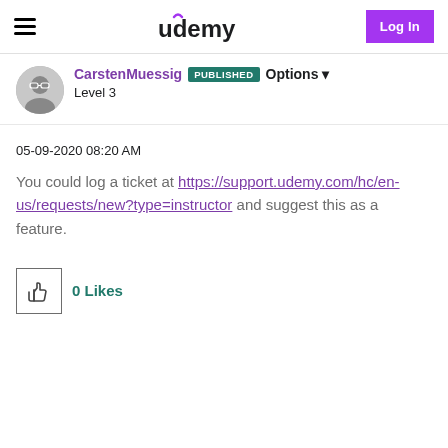Udemy | Log In
CarstenMuessig PUBLISHED Options Level 3
05-09-2020 08:20 AM
You could log a ticket at https://support.udemy.com/hc/en-us/requests/new?type=instructor and suggest this as a feature.
0 Likes